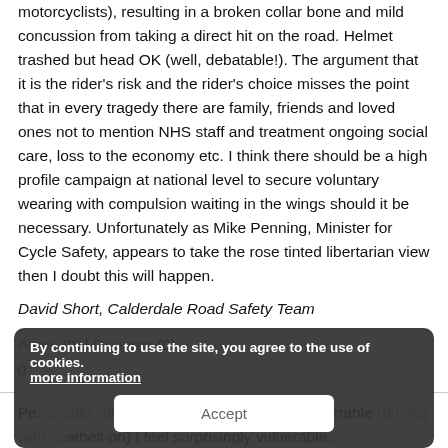motorcyclists), resulting in a broken collar bone and mild concussion from taking a direct hit on the road. Helmet trashed but head OK (well, debatable!). The argument that it is the rider's risk and the rider's choice misses the point that in every tragedy there are family, friends and loved ones not to mention NHS staff and treatment ongoing social care, loss to the economy etc. I think there should be a high profile campaign at national level to secure voluntary wearing with compulsion waiting in the wings should it be necessary. Unfortunately as Mike Penning, Minister for Cycle Safety, appears to take the rose tinted libertarian view then I doubt this will happen.
David Short, Calderdale Road Safety Team
Agree (0) | Disagree (0)
0
Personally, after enjoying cycling it is uncomfortable (driving with seatbelt on) I feel surprisingly vulnerable….
By continuing to use the site, you agree to the use of cookies. more information Accept